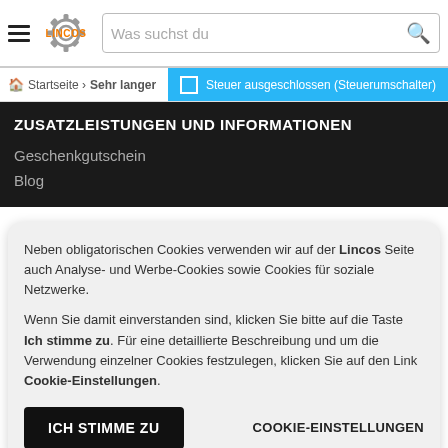[Figure (logo): Lincos logo with gear icon and orange text]
Was suchst du
Startseite > Sehr langen...
Steuer ausgeschlossen (Steuerumschalter)
ZUSATZLEISTUNGEN UND INFORMATIONEN
Geschenkgutschein
Blog
Neben obligatorischen Cookies verwenden wir auf der Lincos Seite auch Analyse- und Werbe-Cookies sowie Cookies für soziale Netzwerke.
Wenn Sie damit einverstanden sind, klicken Sie bitte auf die Taste Ich stimme zu. Für eine detaillierte Beschreibung und um die Verwendung einzelner Cookies festzulegen, klicken Sie auf den Link Cookie-Einstellungen.
ICH STIMME ZU
COOKIE-EINSTELLUNGEN